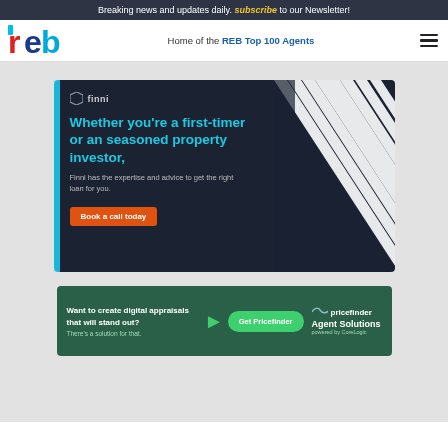Breaking news and updates daily. subscribe to our Newsletter!
[Figure (logo): REB logo - red and blue stylized letters]
Home of the REB Top 100 Agents
[Figure (illustration): Finni advertisement banner: 'Whether you’re a first-timer or an seasoned property investor, Finni has the expertise and advice to get the right loan for you. Book a call today']
[Figure (illustration): Pricefinder / Agent Solutions advertisement: 'Want to create digital appraisals that will stand out? There’s a solution for that. Get Pricefinder']